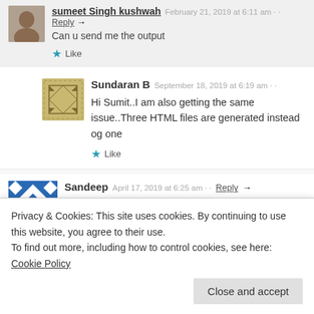sumeet Singh kushwah — February 21, 2019 at 6:11 am — Reply
Can u send me the output
Like
Sundaran B — September 18, 2019 at 6:19 am
Hi Sumit..I am also getting the same issue..Three HTML files are generated instead og one
Like
Sandeep — April 17, 2019 at 6:25 am — Reply
Hi ,
while registering the DLL i am getting error on cmd prompt as the
Privacy & Cookies: This site uses cookies. By continuing to use this website, you agree to their use.
To find out more, including how to control cookies, see here: Cookie Policy
Close and accept